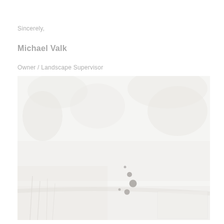Sincerely,
Michael Valk
Owner / Landscape Supervisor
[Figure (photo): A faint, washed-out background image showing a landscape scene with trees, grass, and foliage in very light grey tones. A few small grey circles/dots are visible in the center-right area of the image, resembling a loading indicator or decorative element.]